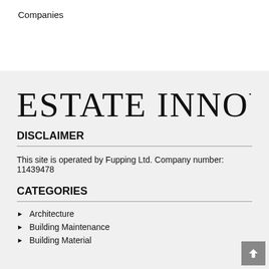Companies
[Figure (logo): Estate Innovation logo in decorative serif font]
DISCLAIMER
This site is operated by Fupping Ltd. Company number: 11439478
CATEGORIES
Architecture
Building Maintenance
Building Material